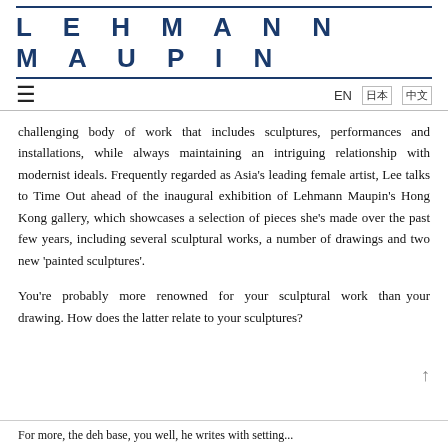LEHMANN MAUPIN
challenging body of work that includes sculptures, performances and installations, while always maintaining an intriguing relationship with modernist ideals. Frequently regarded as Asia's leading female artist, Lee talks to Time Out ahead of the inaugural exhibition of Lehmann Maupin's Hong Kong gallery, which showcases a selection of pieces she's made over the past few years, including several sculptural works, a number of drawings and two new 'painted sculptures'.
You're probably more renowned for your sculptural work than your drawing. How does the latter relate to your sculptures?
For more, the deh base, you well, he writes with setting...